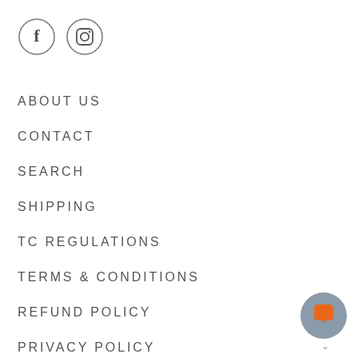[Figure (logo): Facebook and Instagram social media icons in circle outlines]
ABOUT US
CONTACT
SEARCH
SHIPPING
TC REGULATIONS
TERMS & CONDITIONS
REFUND POLICY
PRIVACY POLICY
COUNTRY
[Figure (illustration): Orange chat bubble icon on grey circular background button, bottom right corner]